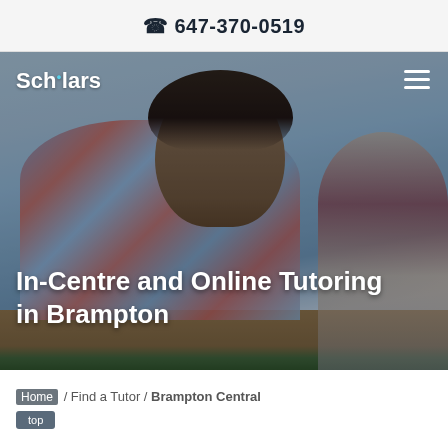☎ 647-370-0519
[Figure (photo): Hero section with a teenage boy writing at a school desk in a classroom, another student visible in the background. Dark overlay on photo with navigation bar showing 'Scholars' logo and hamburger menu.]
In-Centre and Online Tutoring in Brampton
Home / Find a Tutor / Brampton Central
top